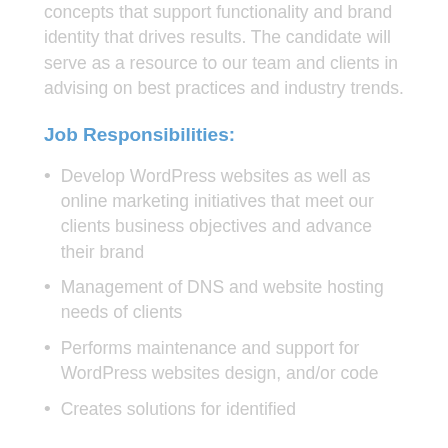concepts that support functionality and brand identity that drives results. The candidate will serve as a resource to our team and clients in advising on best practices and industry trends.
Job Responsibilities:
Develop WordPress websites as well as online marketing initiatives that meet our clients business objectives and advance their brand
Management of DNS and website hosting needs of clients
Performs maintenance and support for WordPress websites design, and/or code
Creates solutions for identified...